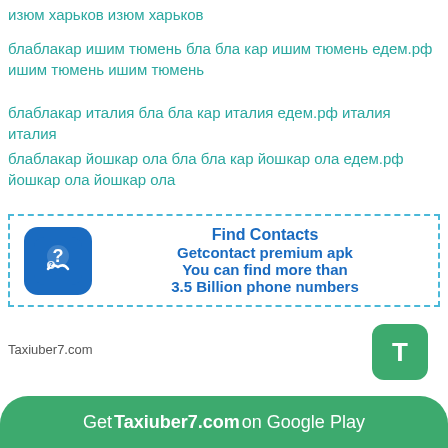изюм харьков изюм харьков
блаблакар ишим тюмень бла бла кар ишим тюмень едем.рф ишим тюмень ишим тюмень
блаблакар италия бла бла кар италия едем.рф италия италия
блаблакар йошкар ола бла бла кар йошкар ола едем.рф йошкар ола йошкар ола
[Figure (infographic): Ad box with dashed border containing a blue phone/question mark app icon and text: Find Contacts, Getcontact premium apk, You can find more than 3.5 Billion phone numbers]
Taxiuber7.com
[Figure (logo): Green rounded square button with white letter T]
Get Taxiuber7.com on Google Play